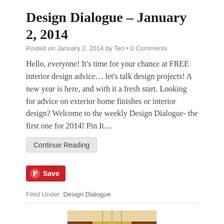Design Dialogue – January 2, 2014
Posted on January 2, 2014 by Teri • 0 Comments
Hello, everyone!  It's time for your chance at FREE interior design advice…  let's talk design projects! A new year is here, and with it a fresh start.  Looking for advice on exterior home finishes or interior design?  Welcome to the weekly Design Dialogue- the first one for 2014! Pin It…
Continue Reading
Save
Filed Under: Design Dialogue
[Figure (photo): Kitchen interior photo showing dark wood cabinets with pendant lighting]